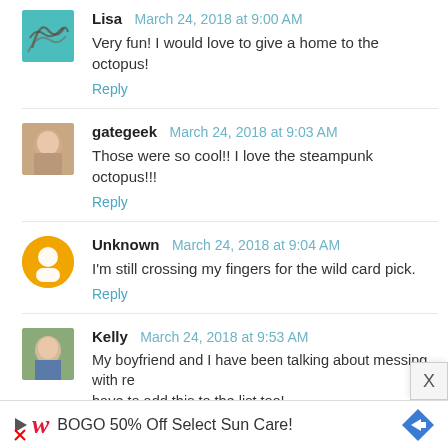Lisa  March 24, 2018 at 9:00 AM
Very fun! I would love to give a home to the octopus!
Reply
gategeek  March 24, 2018 at 9:03 AM
Those were so cool!! I love the steampunk octopus!!!
Reply
Unknown  March 24, 2018 at 9:04 AM
I'm still crossing my fingers for the wild card pick.
Reply
Kelly  March 24, 2018 at 9:53 AM
My boyfriend and I have been talking about messing with re... have to add this to the list too!
Reply
[Figure (infographic): Walgreens BOGO 50% Off Select Sun Care advertisement banner]